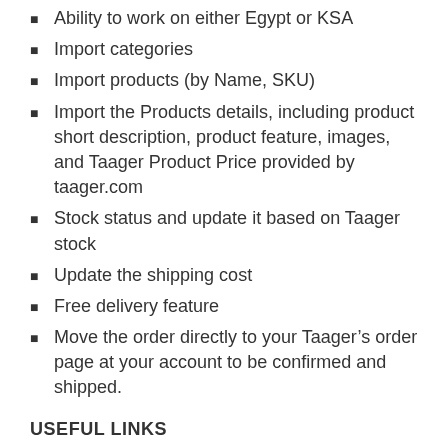Ability to work on either Egypt or KSA
Import categories
Import products (by Name, SKU)
Import the Products details, including product short description, product feature, images, and Taager Product Price provided by taager.com
Stock status and update it based on Taager stock
Update the shipping cost
Free delivery feature
Move the order directly to your Taager’s order page at your account to be confirmed and shipped.
USEFUL LINKS
Want to know everything about Taager plugin check this link
TRANSLATIONS